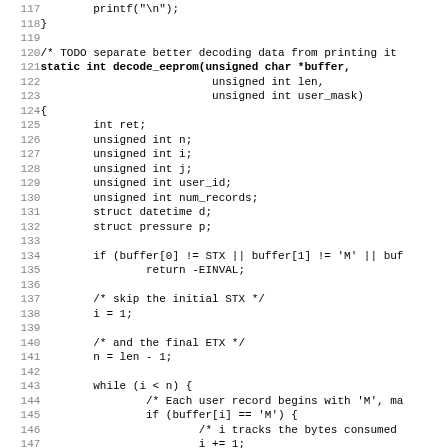[Figure (other): Source code listing in C, lines 117-148, showing a decode_eeprom function with variable declarations and loop logic.]